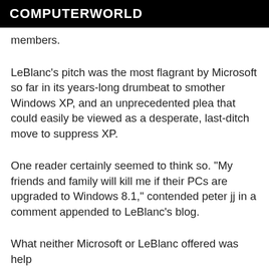COMPUTERWORLD
members.
LeBlanc's pitch was the most flagrant by Microsoft so far in its years-long drumbeat to smother Windows XP, and an unprecedented plea that could easily be viewed as a desperate, last-ditch move to suppress XP.
One reader certainly seemed to think so. "My friends and family will kill me if their PCs are upgraded to Windows 8.1," contended peter jj in a comment appended to LeBlanc's blog.
What neither Microsoft or LeBlanc offered was help